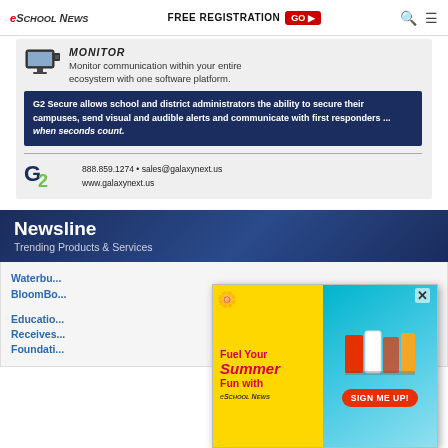eSchool News | FREE REGISTRATION GO
[Figure (screenshot): G2 Secure advertisement showing monitor icon, description text about monitoring communication within ecosystem, blue box with text about G2 Secure school security solution, and G2 logo with contact info 888.859.1274, sales@galaxynext.us, www.galaxynext.us]
Newsline
Trending Products & Services
Waterbury... BloomBo...
Educatio... Receives... Foundati...
[Figure (screenshot): Popup advertisement for eSchool News summer promotion with 'Fuel Your Summer Fun with eSchool News' text, yellow background with flower decoration, SIGN ME UP! button, and close X button. Colorful background with books on right side.]